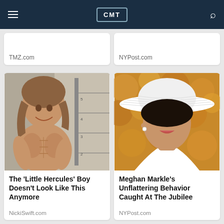CMT
TMZ.com
NYPost.com
[Figure (photo): Young muscular boy (Little Hercules) shirtless in a gym setting]
The 'Little Hercules' Boy Doesn't Look Like This Anymore
NickiSwift.com
[Figure (photo): Meghan Markle smiling, wearing a large white hat and white outfit, with golden bokeh background]
Meghan Markle's Unflattering Behavior Caught At The Jubilee
NYPost.com